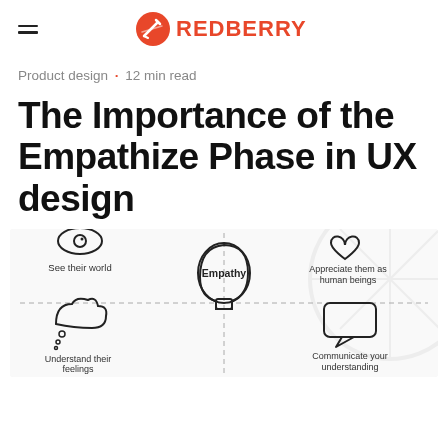REDBERRY
Product design · 12 min read
The Importance of the Empathize Phase in UX design
[Figure (infographic): Empathy infographic showing four quadrants around a central head silhouette labeled 'Empathy'. Top-left: eye icon with 'See their world'. Top-right: heart icon with 'Appreciate them as human beings'. Bottom-left: thought bubble icon with 'Understand their feelings'. Bottom-right: speech bubble icon with 'Communicate your understanding'. Quadrants separated by dashed lines.]